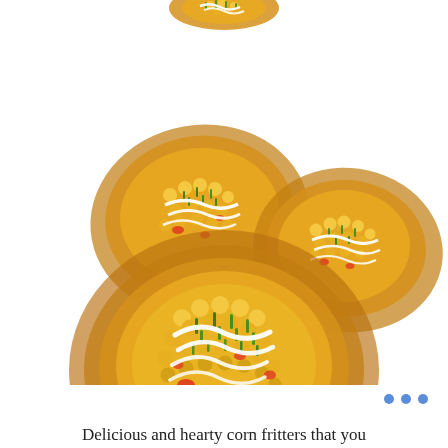[Figure (photo): Multiple corn fritters photographed from above on a white background. The fritters are golden-yellow with visible corn kernels, red pepper pieces, and herbs. Each fritter is topped with white cream/sour cream drizzled in stripes and chopped green chives. Three fritters are visible: one large one in the foreground center-bottom, one medium on the upper-left, one medium on the upper-right, and a partial fritter at the very top center.]
Delicious and hearty corn fritters that you